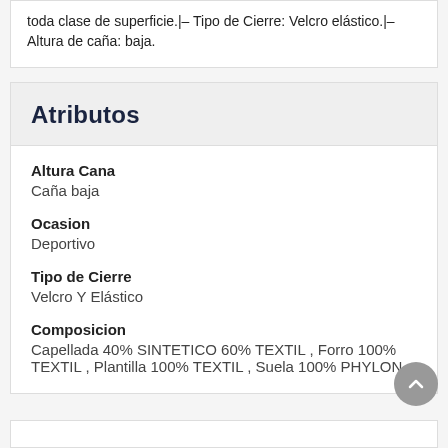toda clase de superficie.|– Tipo de Cierre: Velcro elástico.|– Altura de caña: baja.
Atributos
Altura Cana
Caña baja
Ocasion
Deportivo
Tipo de Cierre
Velcro Y Elástico
Composicion
Capellada 40% SINTETICO 60% TEXTIL , Forro 100% TEXTIL , Plantilla 100% TEXTIL , Suela 100% PHYLON